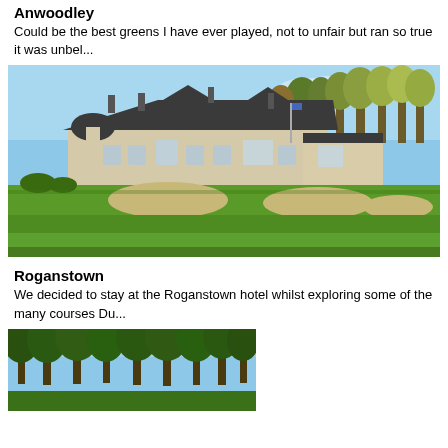Anwoodley
Could be the best greens I have ever played, not to unfair but ran so true it was unbel...
[Figure (photo): Golf course with green fairway and sandy bunkers in foreground, large clubhouse building with dark roof in background, trees on right, blue sky]
Roganstown
We decided to stay at the Roganstown hotel whilst exploring some of the many courses Du...
[Figure (photo): Partial view of Roganstown golf course with trees and blue sky visible]